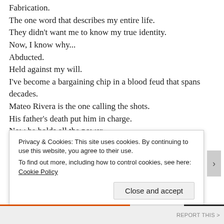Fabrication.
The one word that describes my entire life.
They didn’t want me to know my true identity.
Now, I know why…
Abducted.
Held against my will.
I’ve become a bargaining chip in a blood feud that spans decades.
Mateo Rivera is the one calling the shots.
His father’s death put him in charge.
Now he holds all the power.
I should have known that he would ruin me the moment I laid eyes on him.
And he did.
Privacy & Cookies: This site uses cookies. By continuing to use this website, you agree to their use.
To find out more, including how to control cookies, see here: Cookie Policy
Close and accept